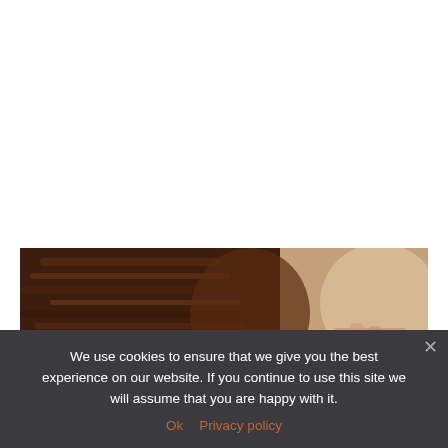[Figure (photo): Close-up photo of a person's head and hair, showing dark brown hair and a skin-toned background with warm lighting. Appears to show a scalp or hair treatment context.]
We use cookies to ensure that we give you the best experience on our website. If you continue to use this site we will assume that you are happy with it.
Ok   Privacy policy